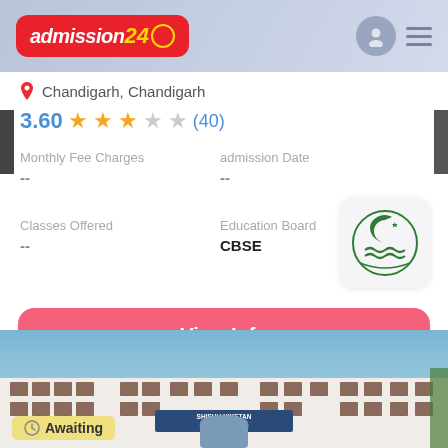admission24 [logo] header navigation
Chandigarh, Chandigarh
3.60 ★★★☆☆ (40)
Monthly Fee Charges
--
Admission Date
--
Classes Offered
--
Education Board
CBSE
[Figure (logo): School emblem with crescent moon and waves, green color, circular badge]
View Info
[Figure (photo): Shishu Niketan Model Sr. Sec. School building exterior, white multi-storey building under blue sky]
Awaiting